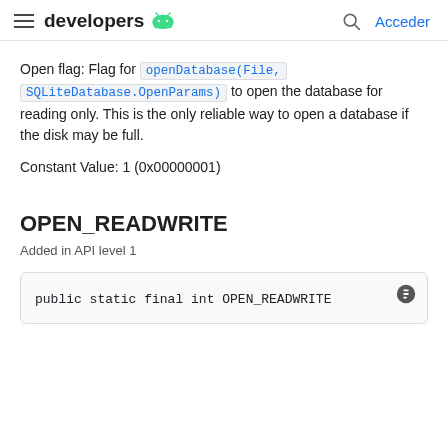developers | Acceder
Open flag: Flag for openDatabase(File, SQLiteDatabase.OpenParams) to open the database for reading only. This is the only reliable way to open a database if the disk may be full.
Constant Value: 1 (0x00000001)
OPEN_READWRITE
Added in API level 1
public static final int OPEN_READWRITE